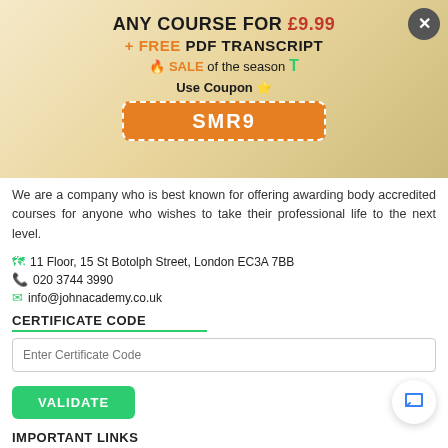[Figure (infographic): Promotional banner with gradient gold background showing course offer: ANY COURSE FOR £9.99 + FREE PDF TRANSCRIPT, SALE of the season, Use Coupon SMR9, with close button]
We are a company who is best known for offering awarding body accredited courses for anyone who wishes to take their professional life to the next level.
11 Floor, 15 St Botolph Street, London EC3A 7BB
020 3744 3990
info@johnacademy.co.uk
CERTIFICATE CODE
Enter Certificate Code
VALIDATE
IMPORTANT LINKS